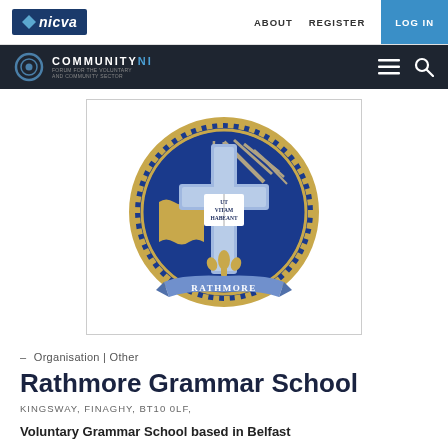nicva   ABOUT   REGISTER   LOG IN
COMMUNITYNI
[Figure (logo): Rathmore Grammar School crest - circular blue and gold emblem with cross, book reading 'UT VITAM HABEANT', and banner reading 'RATHMORE']
– Organisation | Other
Rathmore Grammar School
KINGSWAY, FINAGHY, BT10 0LF,
Voluntary Grammar School based in Belfast